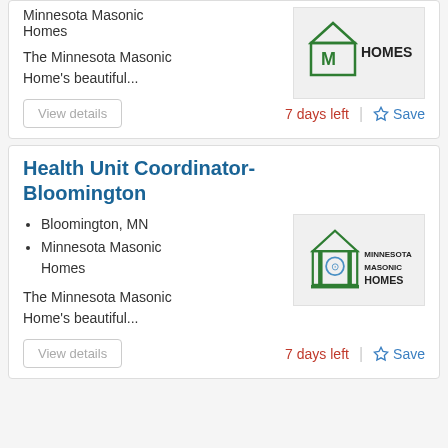Minnesota Masonic Homes
The Minnesota Masonic Home's beautiful...
7 days left
Save
Health Unit Coordinator-Bloomington
Bloomington, MN
Minnesota Masonic Homes
[Figure (logo): Minnesota Masonic Homes logo with green building icon and text]
The Minnesota Masonic Home's beautiful...
7 days left
Save